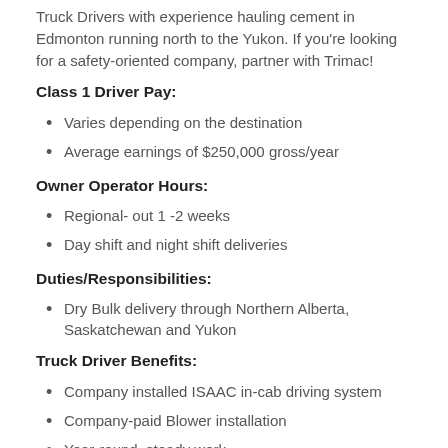Truck Drivers with experience hauling cement in Edmonton running north to the Yukon. If you're looking for a safety-oriented company, partner with Trimac!
Class 1 Driver Pay:
Varies depending on the destination
Average earnings of $250,000 gross/year
Owner Operator Hours:
Regional- out 1 -2 weeks
Day shift and night shift deliveries
Duties/Responsibilities:
Dry Bulk delivery through Northern Alberta, Saskatchewan and Yukon
Truck Driver Benefits:
Company installed ISAAC in-cab driving system
Company-paid Blower installation
Year-round, steady work